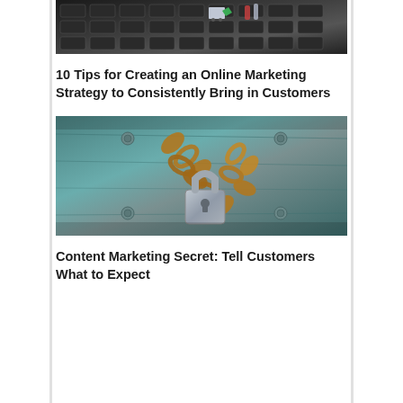[Figure (photo): Photo of miniature shopping cart figure on keyboard keys, representing online marketing/e-commerce]
10 Tips for Creating an Online Marketing Strategy to Consistently Bring in Customers
[Figure (photo): Photo of a heavy chain and padlock on a teal/blue wooden door, representing security or secrets]
Content Marketing Secret: Tell Customers What to Expect